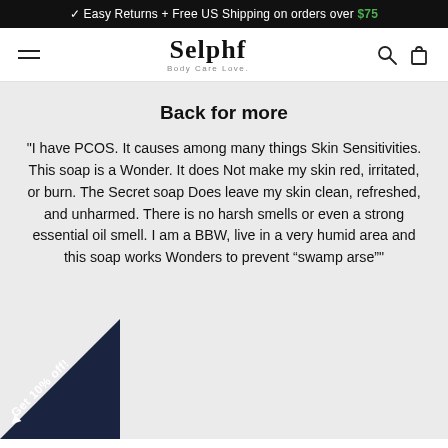Easy Returns + Free US Shipping on orders over $75
[Figure (logo): Selphf Body Care Love. logo with hamburger menu, search icon, and bag icon in navigation bar]
Back for more
"I have PCOS. It causes among many things Skin Sensitivities. This soap is a Wonder. It does Not make my skin red, irritated, or burn. The Secret soap Does leave my skin clean, refreshed, and unharmed. There is no harsh smells or even a strong essential oil smell. I am a BBW, live in a very humid area and this soap works Wonders to prevent “swamp arse”"
Get 10% off!